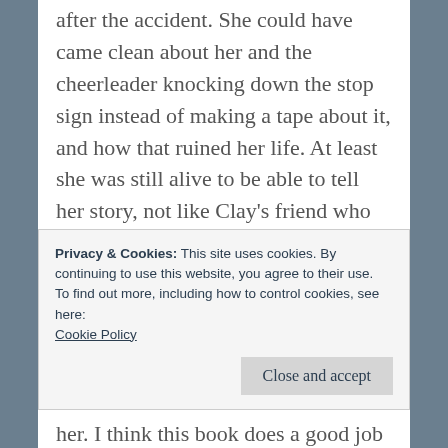after the accident. She could have came clean about her and the cheerleader knocking down the stop sign instead of making a tape about it, and how that ruined her life. At least she was still alive to be able to tell her story, not like Clay's friend who they all thought he was drunk driving.
In the novel she committed suicide by overdosing on pills. In the show, she had a more gruesome suicide. Was this necessary? No, her death was going to be dramatic enough without
Privacy & Cookies: This site uses cookies. By continuing to use this website, you agree to their use.
To find out more, including how to control cookies, see here: Cookie Policy
Close and accept
her. I think this book does a good job of going